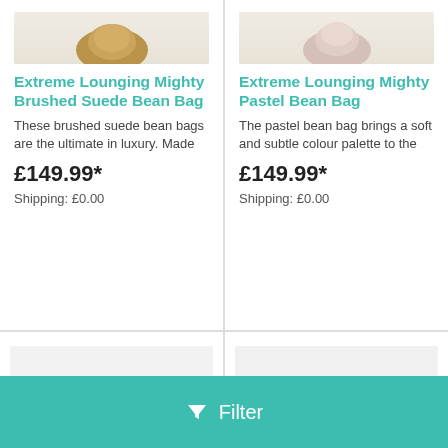[Figure (photo): Extreme Lounging Mighty Brushed Suede Bean Bag product image (top, partially cropped)]
Extreme Lounging Mighty Brushed Suede Bean Bag
These brushed suede bean bags are the ultimate in luxury. Made
£149.99*
Shipping: £0.00
[Figure (photo): Extreme Lounging Mighty Pastel Bean Bag product image (top, partially cropped)]
Extreme Lounging Mighty Pastel Bean Bag
The pastel bean bag brings a soft and subtle colour palette to the
£149.99*
Shipping: £0.00
[Figure (photo): John Lewis Faux Fur Bean Bag - light grey fluffy bean bag]
John Lewis Faux Fur Bean Bag
[Figure (photo): Milano Velvet Bean Bag Loveseat Sofa - Charcoal grey velvet loveseat]
Milano Velvet Bean Bag Loveseat Sofa - Charcoal
Filter